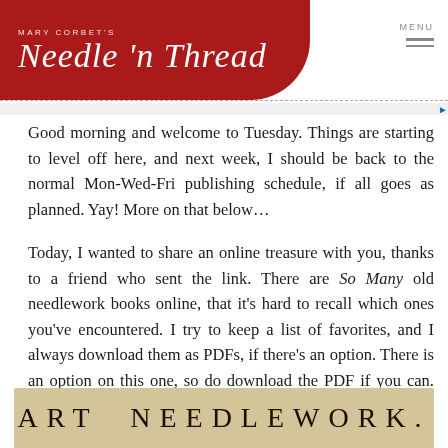Mary Corbett's Needle n Thread — MENU
Good morning and welcome to Tuesday. Things are starting to level off here, and next week, I should be back to the normal Mon-Wed-Fri publishing schedule, if all goes as planned. Yay! More on that below…
Today, I wanted to share an online treasure with you, thanks to a friend who sent the link. There are So Many old needlework books online, that it's hard to recall which ones you've encountered. I try to keep a list of favorites, and I always download them as PDFs, if there's an option. There is an option on this one, so do download the PDF if you can. Then you can browse through the book at your leisure.
[Figure (photo): Old book page showing title 'ART NEEDLEWORK.' in serif type on aged cream/tan paper background]